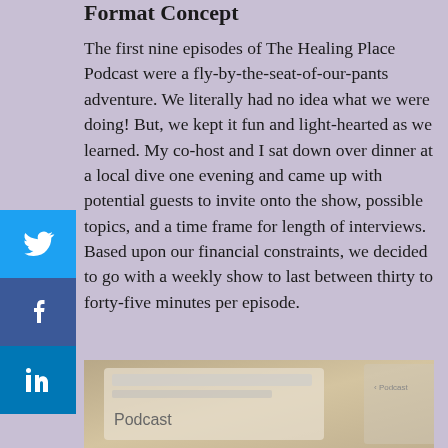Format Concept
The first nine episodes of The Healing Place Podcast were a fly-by-the-seat-of-our-pants adventure. We literally had no idea what we were doing! But, we kept it fun and light-hearted as we learned. My co-host and I sat down over dinner at a local dive one evening and came up with potential guests to invite onto the show, possible topics, and a time frame for length of interviews. Based upon our financial constraints, we decided to go with a weekly show to last between thirty to forty-five minutes per episode.
[Figure (photo): Photo of a tablet/iPad showing a podcast-related screen with text 'Podcast' visible]